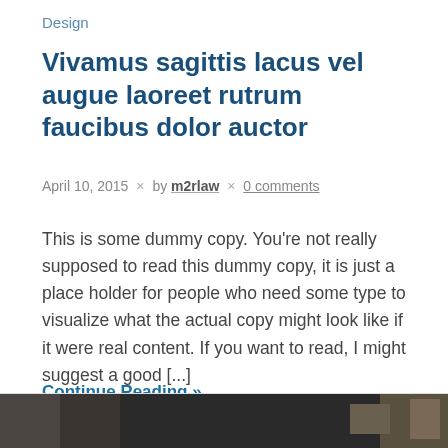Design
Vivamus sagittis lacus vel augue laoreet rutrum faucibus dolor auctor
April 10, 2015 × by m2rlaw × 0 comments
This is some dummy copy. You're not really supposed to read this dummy copy, it is just a place holder for people who need some type to visualize what the actual copy might look like if it were real content. If you want to read, I might suggest a good [...]
Continue Reading »
[Figure (photo): Dark photograph partially visible at the bottom of the page]